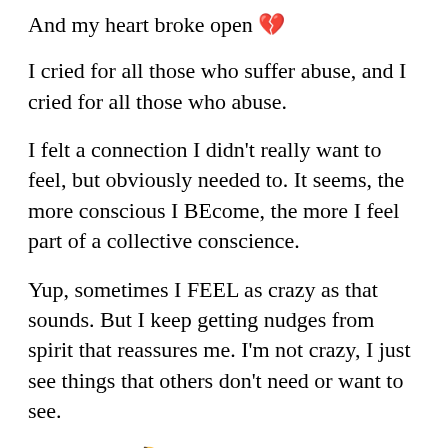And my heart broke open 💔
I cried for all those who suffer abuse, and I cried for all those who abuse.
I felt a connection I didn't really want to feel, but obviously needed to. It seems, the more conscious I BEcome, the more I feel part of a collective conscience.
Yup, sometimes I FEEL as crazy as that sounds. But I keep getting nudges from spirit that reassures me. I'm not crazy, I just see things that others don't need or want to see.
Hmmmmm 🤔